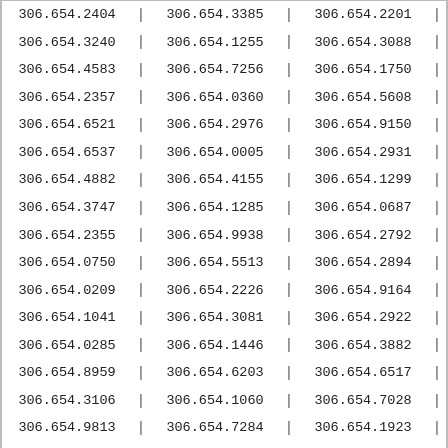| 306.654.2404 | | | 306.654.3385 | | | 306.654.2201 | | |
| 306.654.3240 | | | 306.654.1255 | | | 306.654.3088 | | |
| 306.654.4583 | | | 306.654.7256 | | | 306.654.1750 | | |
| 306.654.2357 | | | 306.654.0360 | | | 306.654.5608 | | |
| 306.654.6521 | | | 306.654.2976 | | | 306.654.9150 | | |
| 306.654.6537 | | | 306.654.0005 | | | 306.654.2931 | | |
| 306.654.4882 | | | 306.654.4155 | | | 306.654.1299 | | |
| 306.654.3747 | | | 306.654.1285 | | | 306.654.0687 | | |
| 306.654.2355 | | | 306.654.9938 | | | 306.654.2792 | | |
| 306.654.0750 | | | 306.654.5513 | | | 306.654.2894 | | |
| 306.654.0209 | | | 306.654.2226 | | | 306.654.9164 | | |
| 306.654.1041 | | | 306.654.3081 | | | 306.654.2922 | | |
| 306.654.0285 | | | 306.654.1446 | | | 306.654.3882 | | |
| 306.654.8959 | | | 306.654.6203 | | | 306.654.6517 | | |
| 306.654.3106 | | | 306.654.1060 | | | 306.654.7028 | | |
| 306.654.9813 | | | 306.654.7284 | | | 306.654.1923 | | |
| 306.654.0766 | | | 306.654.7659 | | | 306.654.5028 | | |
| 306.654.1444 | | | 306.654.7451 | | | 306.654.7912 | | |
| 306.654.0448 | | | 306.654.3108 | | | 306.654.4000 | | |